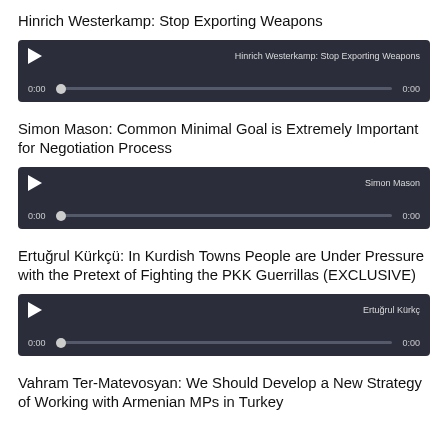Hinrich Westerkamp: Stop Exporting Weapons
[Figure (screenshot): Audio player for 'Hinrich Westerkamp: Stop Exporting Weapons' showing play button, progress bar at 0:00, and duration 0:00]
Simon Mason: Common Minimal Goal is Extremely Important for Negotiation Process
[Figure (screenshot): Audio player labeled 'Simon Mason' showing play button, progress bar at 0:00, and duration 0:00]
Ertuğrul Kürkçü: In Kurdish Towns People are Under Pressure with the Pretext of Fighting the PKK Guerrillas (EXCLUSIVE)
[Figure (screenshot): Audio player labeled 'Ertuğrul Kürkç' showing play button, progress bar at 0:00, and duration 0:00]
Vahram Ter-Matevosyan: We Should Develop a New Strategy of Working with Armenian MPs in Turkey